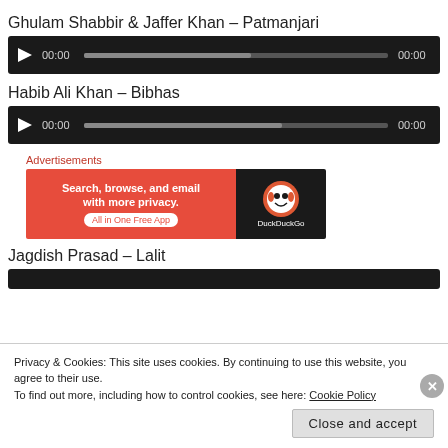Ghulam Shabbir & Jaffer Khan – Patmanjari
[Figure (other): Audio player with play button, time 00:00, progress bar, and duration 00:00 on dark background]
Habib Ali Khan – Bibhas
[Figure (other): Audio player with play button, time 00:00, progress bar, and duration 00:00 on dark background]
[Figure (other): DuckDuckGo advertisement banner: Search, browse, and email with more privacy. All in One Free App]
Jagdish Prasad – Lalit
[Figure (other): Partial audio player on dark background]
Privacy & Cookies: This site uses cookies. By continuing to use this website, you agree to their use.
To find out more, including how to control cookies, see here: Cookie Policy
Close and accept